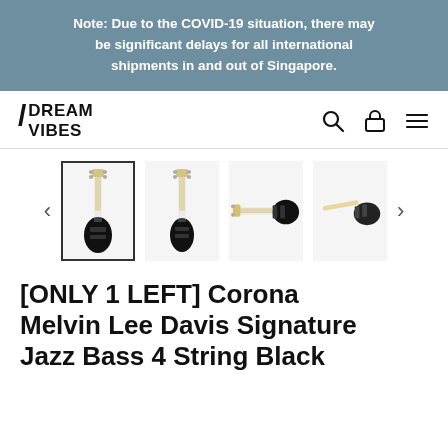Note: Due to the COVID-19 situation, there may be significant delays for all international shipments in and out of Singapore.
[Figure (logo): /DREAM VIBES logo with slash mark]
[Figure (photo): Four thumbnail images of a black jazz bass guitar shown from different angles; first thumbnail is selected/active with a border]
[ONLY 1 LEFT] Corona Melvin Lee Davis Signature Jazz Bass 4 String Black